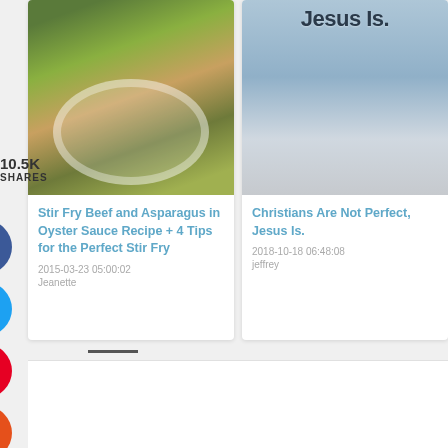[Figure (photo): Food photo showing stir fry beef and asparagus in a white bowl on wooden surface]
Stir Fry Beef and Asparagus in Oyster Sauce Recipe + 4 Tips for the Perfect Stir Fry
2015-03-23 05:00:02
Jeanette
[Figure (photo): Photo of water/lagoon scene with text 'Jesus Is.' overlaid]
Christians Are Not Perfect, Jesus Is.
2018-10-18 06:48:08
jeffrey
10.5K
SHARES
[Figure (infographic): Social share buttons: Facebook (2 shares), Twitter, Pinterest (10.5K), Yummly]